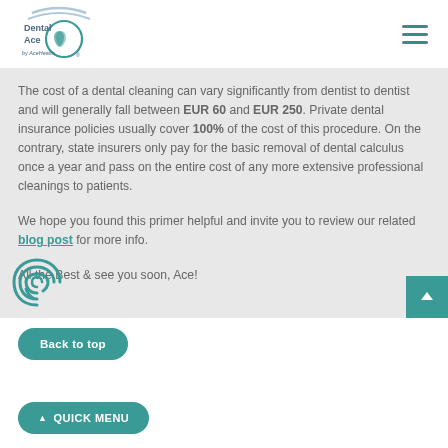[Figure (logo): Dental Ace by Ace Health logo with tooth icon and curved lines]
The cost of a dental cleaning can vary significantly from dentist to dentist and will generally fall between EUR 60 and EUR 250. Private dental insurance policies usually cover 100% of the cost of this procedure. On the contrary, state insurers only pay for the basic removal of dental calculus once a year and pass on the entire cost of any more extensive professional cleanings to patients.
We hope you found this primer helpful and invite you to review our related blog post for more info.
All the Best & see you soon, Ace!
[Figure (illustration): Teal fingerprint/biometric icon]
Back to top
▲ QUICK MENU